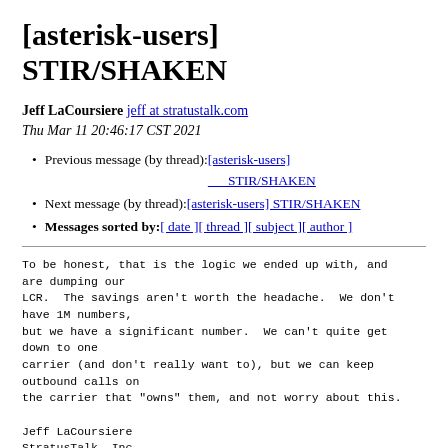[asterisk-users] STIR/SHAKEN
Jeff LaCoursiere jeff at stratustalk.com
Thu Mar 11 20:46:17 CST 2021
Previous message (by thread): [asterisk-users] STIR/SHAKEN
Next message (by thread): [asterisk-users] STIR/SHAKEN
Messages sorted by: [ date ] [ thread ] [ subject ] [ author ]
To be honest, that is the logic we ended up with, and are dumping our
LCR.  The savings aren't worth the headache.  We don't have 1M numbers,
but we have a significant number.  We can't quite get down to one
carrier (and don't really want to), but we can keep outbound calls on
the carrier that "owns" them, and not worry about this.

Jeff LaCoursiere
StratusTalk, Inc.